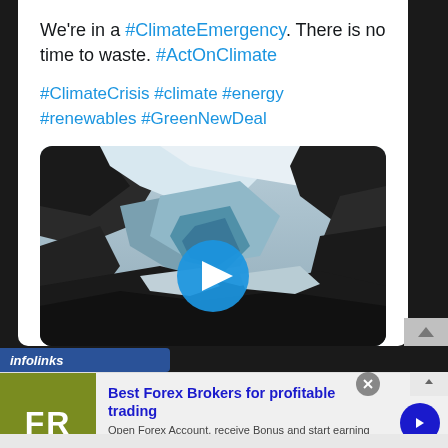We're in a #ClimateEmergency. There is no time to waste. #ActOnClimate
#ClimateCrisis #climate #energy #renewables #GreenNewDeal
[Figure (photo): Aerial view of a glacier or snowy mountain landscape with a video play button overlay]
[Figure (logo): Infolinks banner logo]
[Figure (infographic): Forex Ratings advertisement: 'Best Forex Brokers for profitable trading' with FR logo, description text, and forex-ratings.com URL]